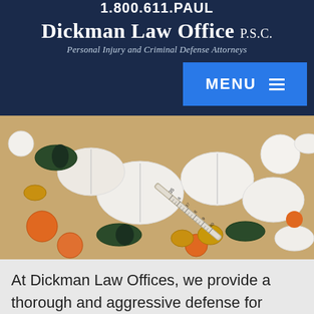1.800.611.PAUL
Dickman Law Office P.S.C.
Personal Injury and Criminal Defense Attorneys
[Figure (photo): Close-up photograph of assorted pills, capsules, and tablets of various colors (white, orange, green, gold) scattered together with a medical syringe/thermometer visible among them.]
At Dickman Law Offices, we provide a thorough and aggressive defense for clients accused of drug-related crimes. Criminal defense attorney